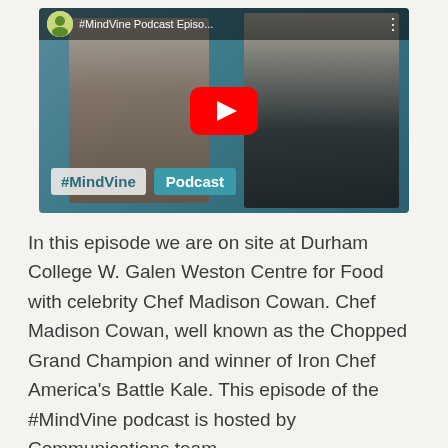[Figure (screenshot): YouTube video thumbnail for #MindVine Podcast Episode showing two people (one in a brown suit, one in a dark jacket) in a kitchen/food centre setting. A large red YouTube play button overlays the center. The bottom shows '#MindVine' and 'Podcast' text tags on a teal background. The top bar shows a channel logo and '#MindVine Podcast Episo...' title.]
In this episode we are on site at Durham College W. Galen Weston Centre for Food with celebrity Chef Madison Cowan. Chef Madison Cowan, well known as the Chopped Grand Champion and winner of Iron Chef America's Battle Kale. This episode of the #MindVine podcast is hosted by Communications team…